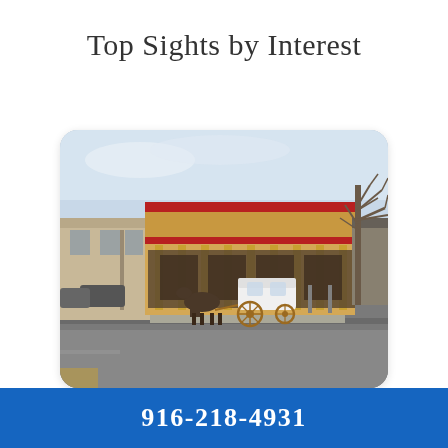Top Sights by Interest
[Figure (photo): Street scene showing a two-story western-style building with a red roof and open veranda/balcony supported by yellow columns. A white horse-drawn carriage is parked in front on a wide road. Bare winter trees visible on the right side. Other historic storefronts visible in the background.]
916-218-4931